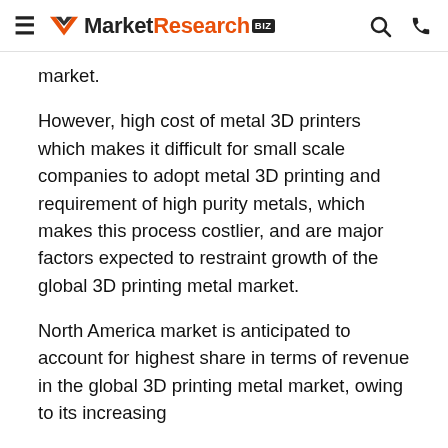MarketResearch.biz
market.
However, high cost of metal 3D printers which makes it difficult for small scale companies to adopt metal 3D printing and requirement of high purity metals, which makes this process costlier, and are major factors expected to restraint growth of the global 3D printing metal market.
North America market is anticipated to account for highest share in terms of revenue in the global 3D printing metal market, owing to its increasing